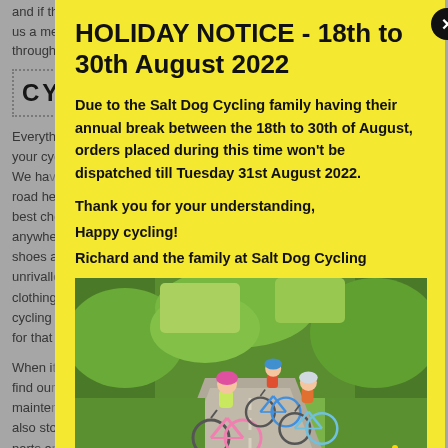and if there's anything you need help with, just send us a message and we'll ensure that someone can talk through
CYC
Everything you could possibly need to maintain and run your cycling life in top condition, you'll find here. We have the best selection of road helmets, mountain bike helmets and best clothing to keep you comfortable and looking great anywhere you ride. We stock the best cycling shoes and the best cycling sunglasses unrivalled anywhere in the UK. We have cycling clothing for all seasons so you'll always be ready for that next cycle adventure.
When it comes to bike maintenance, you'll find our expert information on bike maintenance and upkeep. We also stock one of the largest ranges of bike parts and accessories in the UK, covering handlebar accessories and components and the full range of bike part and accessory you could possibly need
HOLIDAY NOTICE - 18th to 30th August 2022
Due to the Salt Dog Cycling family having their annual break between the 18th to 30th of August, orders placed during this time won't be dispatched till Tuesday 31st August 2022.
Thank you for your understanding,
Happy cycling!
Richard and the family at Salt Dog Cycling
[Figure (photo): Three children riding bicycles on a paved path surrounded by green trees and grass on a sunny day]